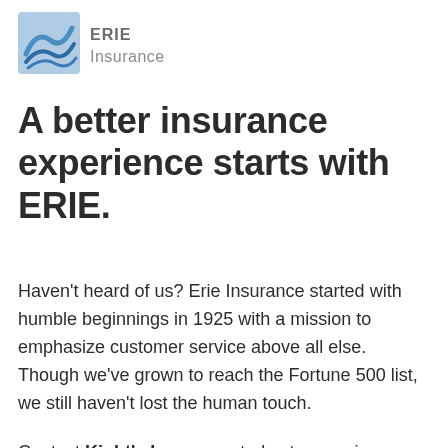[Figure (logo): Erie Insurance logo with blue wave/shield icon and 'ERIE Insurance' text in grey]
A better insurance experience starts with ERIE.
Haven't heard of us? Erie Insurance started with humble beginnings in 1925 with a mission to emphasize customer service above all else. Though we've grown to reach the Fortune 500 list, we still haven't lost the human touch.
Contact Kight's Insurance today to experience the ERIE difference for yourself.